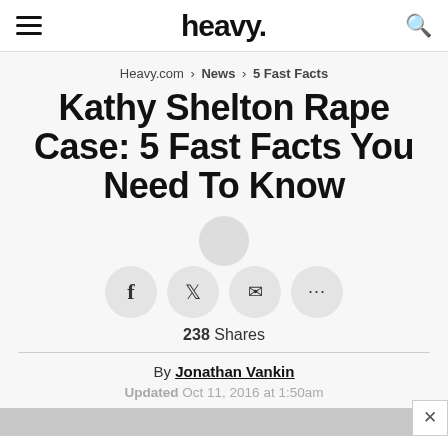heavy.
Heavy.com > News > 5 Fast Facts
Kathy Shelton Rape Case: 5 Fast Facts You Need To Know
[Figure (infographic): Social share buttons: Facebook, Twitter, Email, More (...)]
238 Shares
By Jonathan Vankin
Updated Oct 11, 2016 at 1:50am